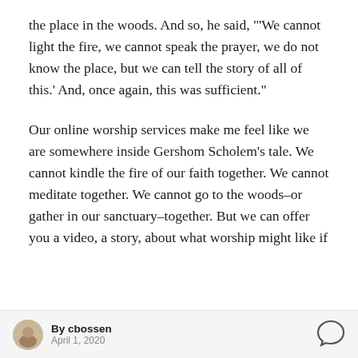the place in the woods. And so, he said, "‘We cannot light the fire, we cannot speak the prayer, we do not know the place, but we can tell the story of all of this.’ And, once again, this was sufficient."
Our online worship services make me feel like we are somewhere inside Gershom Scholem’s tale. We cannot kindle the fire of our faith together. We cannot meditate together. We cannot go to the woods–or gather in our sanctuary–together. But we can offer you a video, a story, about what worship might like if
By cbossen
April 1, 2020